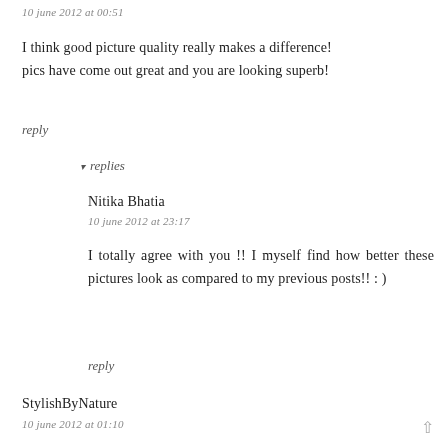10 june 2012 at 00:51
I think good picture quality really makes a difference! pics have come out great and you are looking superb!
reply
▾ replies
Nitika Bhatia
10 june 2012 at 23:17
I totally agree with you !! I myself find how better these pictures look as compared to my previous posts!! : )
reply
StylishByNature
10 june 2012 at 01:10